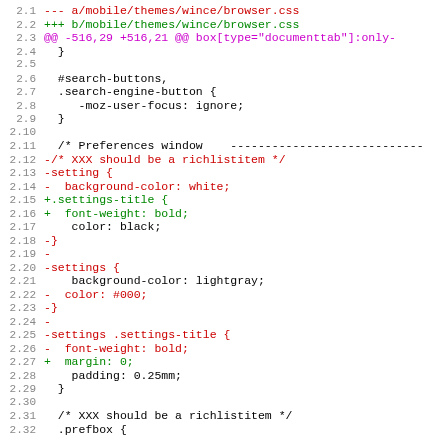[Figure (screenshot): Code diff view showing changes to mobile/themes/wince/browser.css file, with line numbers 2.1-2.32, displaying CSS diff with red (removed) and green (added) lines, and magenta for hunk headers.]